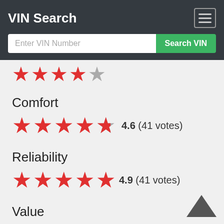VIN Search
Enter VIN Number
Search VIN
Comfort
4.6 (41 votes)
Reliability
4.9 (41 votes)
Value
4.7 (41 votes)